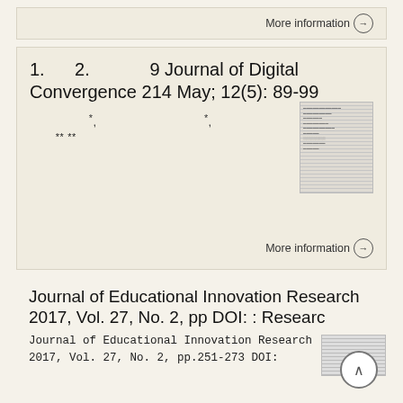More information →
1.      2.            9 Journal of Digital Convergence 214 May; 12(5): 89-99
*, *, ** **
[Figure (other): Thumbnail of journal article page]
More information →
Journal of Educational Innovation Research 2017, Vol. 27, No. 2, pp DOI: : Researc
Journal of Educational Innovation Research 2017, Vol. 27, No. 2, pp.251-273 DOI:
[Figure (other): Thumbnail of journal article page]
[Figure (other): Back to top button]